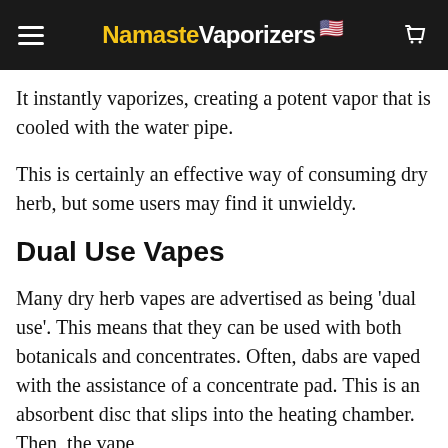NamasteVaporizers
It instantly vaporizes, creating a potent vapor that is cooled with the water pipe.
This is certainly an effective way of consuming dry herb, but some users may find it unwieldy.
Dual Use Vapes
Many dry herb vapes are advertised as being 'dual use'. This means that they can be used with both botanicals and concentrates. Often, dabs are vaped with the assistance of a concentrate pad. This is an absorbent disc that slips into the heating chamber. Then, the vape is set to...